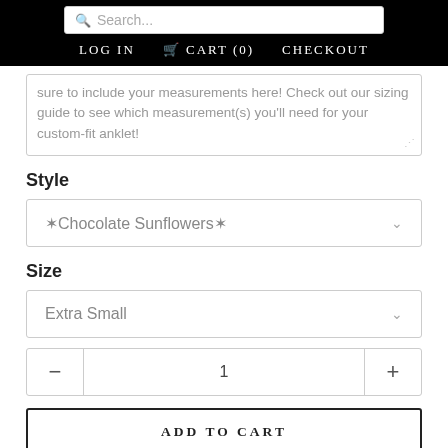Search... | LOG IN | CART (0) | CHECKOUT
sure to include your measurements here! Check out our sizing guide to see which measurement(s) you'll need for your custom-fit anklet!
Style
❃Chocolate Sunflowers❃
Size
Extra Small
1
ADD TO CART